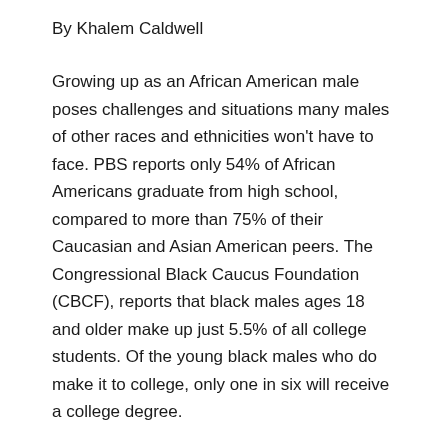By Khalem Caldwell
Growing up as an African American male poses challenges and situations many males of other races and ethnicities won't have to face. PBS reports only 54% of African Americans graduate from high school, compared to more than 75% of their Caucasian and Asian American peers. The Congressional Black Caucus Foundation (CBCF), reports that black males ages 18 and older make up just 5.5% of all college students. Of the young black males who do make it to college, only one in six will receive a college degree.
Nate McGhee, a St. Louis product and a current student athlete at Quincy University, is currently changing and challenging the current narrative of young African American men. McGhee grew up having both parents to support him, guide him and teach him their